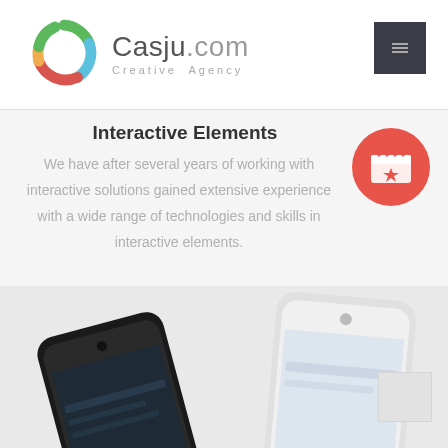[Figure (logo): Casju.com Creative Agency logo with colorful C letter mark]
[Figure (illustration): Dark square menu button with hamburger/menu icon in top right of header]
Interactive Elements
[Figure (illustration): Red circle with white film clapperboard and star icon]
We have after several years of working with interactive solutions gained extensive experience with a wide range of technologies and skills in interactive elements.
[Figure (photo): Two smartphones (one black, one white iPhone) displayed from bottom of page]